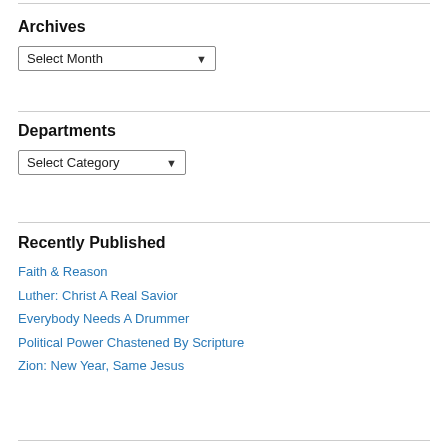Archives
Select Month
Departments
Select Category
Recently Published
Faith & Reason
Luther: Christ A Real Savior
Everybody Needs A Drummer
Political Power Chastened By Scripture
Zion: New Year, Same Jesus